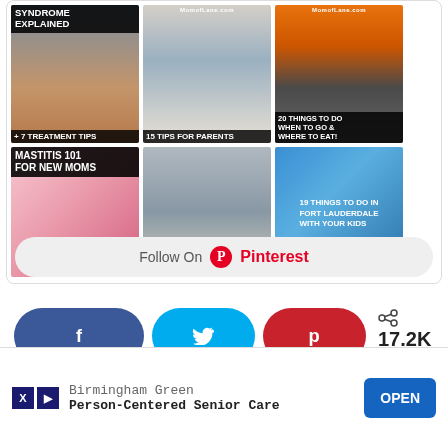[Figure (screenshot): Pinterest widget showing a grid of 6 pinned images: top row has 'Syndrome Explained + 7 Treatment Tips', 'Emotions 15 Tips for Parents', 'Montreal 20 Things To Do When To Go & Where To Eat!'; bottom row has 'Mastitis 101 For New Moms', a street photo, '19 Things To Do In Fort Lauderdale With Your Kids']
Follow On Pinterest
[Figure (infographic): Social share buttons: Facebook (f icon), Twitter (bird icon), Pinterest (p icon), with 17.2K SHARES count]
17.2K SHARES
[Figure (screenshot): Advertisement banner: Birmingham Green - Person-Centered Senior Care with OPEN button]